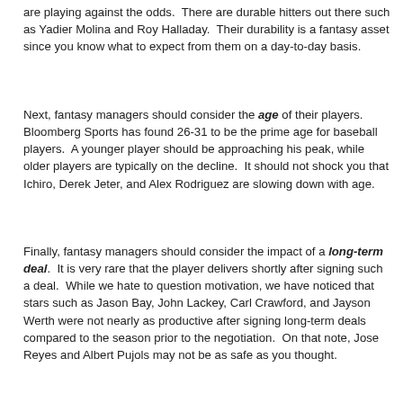are playing against the odds.  There are durable hitters out there such as Yadier Molina and Roy Halladay.  Their durability is a fantasy asset since you know what to expect from them on a day-to-day basis.
Next, fantasy managers should consider the age of their players.  Bloomberg Sports has found 26-31 to be the prime age for baseball players.  A younger player should be approaching his peak, while older players are typically on the decline.  It should not shock you that Ichiro, Derek Jeter, and Alex Rodriguez are slowing down with age.
Finally, fantasy managers should consider the impact of a long-term deal.  It is very rare that the player delivers shortly after signing such a deal.  While we hate to question motivation, we have noticed that stars such as Jason Bay, John Lackey, Carl Crawford, and Jayson Werth were not nearly as productive after signing long-term deals compared to the season prior to the negotiation.  On that note, Jose Reyes and Albert Pujols may not be as safe as you thought.